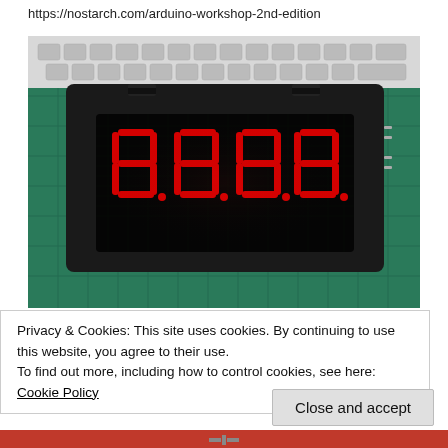https://nostarch.com/arduino-workshop-2nd-edition
[Figure (photo): A 4-digit seven-segment LED display module showing 8.8.8.8. in red on a black face, sitting on a green cutting mat with a keyboard in the background.]
Privacy & Cookies: This site uses cookies. By continuing to use this website, you agree to their use.
To find out more, including how to control cookies, see here: Cookie Policy
Close and accept